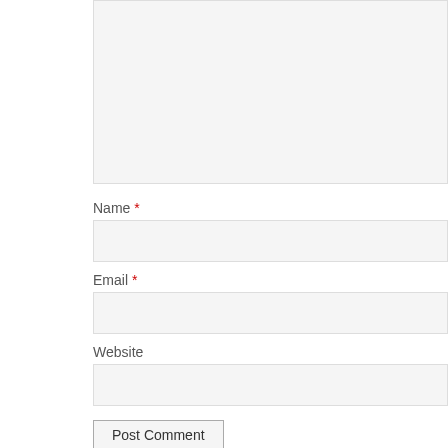[Comment textarea - top, cropped]
Name *
[Name input field]
Email *
[Email input field]
Website
[Website input field]
Post Comment
Fatty Gets Fit!